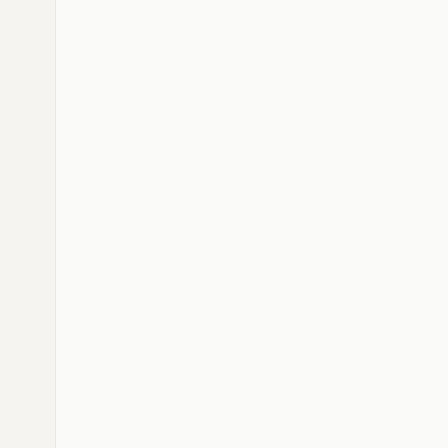Running Trainer Dec 13, 2015 - Finish and Mode Motor team